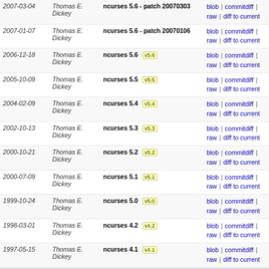| Date | Author | Commit | Links |
| --- | --- | --- | --- |
| 2007-03-04 | Thomas E. Dickey | ncurses 5.6 - patch 20070303 | blob | commitdiff | raw | diff to current |
| 2007-01-07 | Thomas E. Dickey | ncurses 5.6 - patch 20070106 | blob | commitdiff | raw | diff to current |
| 2006-12-18 | Thomas E. Dickey | ncurses 5.6 v5.6 | blob | commitdiff | raw | diff to current |
| 2005-10-09 | Thomas E. Dickey | ncurses 5.5 v5.5 | blob | commitdiff | raw | diff to current |
| 2004-02-09 | Thomas E. Dickey | ncurses 5.4 v5.4 | blob | commitdiff | raw | diff to current |
| 2002-10-13 | Thomas E. Dickey | ncurses 5.3 v5.3 | blob | commitdiff | raw | diff to current |
| 2000-10-21 | Thomas E. Dickey | ncurses 5.2 v5.2 | blob | commitdiff | raw | diff to current |
| 2000-07-09 | Thomas E. Dickey | ncurses 5.1 v5.1 | blob | commitdiff | raw | diff to current |
| 1999-10-24 | Thomas E. Dickey | ncurses 5.0 v5.0 | blob | commitdiff | raw | diff to current |
| 1998-03-01 | Thomas E. Dickey | ncurses 4.2 v4.2 | blob | commitdiff | raw | diff to current |
| 1997-05-15 | Thomas E. Dickey | ncurses 4.1 v4.1 | blob | commitdiff | raw | diff to current |
ncurses, with patches starting at ncurses-5.6; new users should use https://github.com/ThomasDickey/ncurses-snapshots/